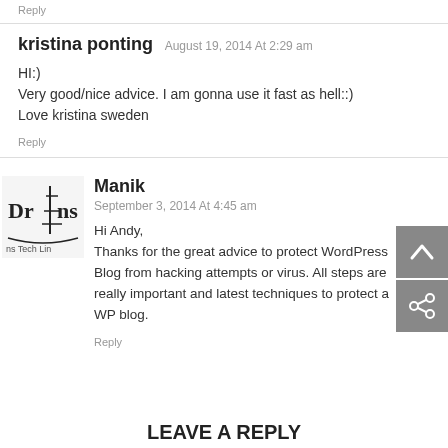Reply
kristina ponting August 19, 2014 At 2:29 am
HI:)
Very good/nice advice. I am gonna use it fast as hell::)
Love kristina sweden
Reply
[Figure (logo): Drins Tech Link logo with Eiffel tower icon]
Manik
September 3, 2014 At 4:45 am
Hi Andy,
Thanks for the great advice to protect WordPress Blog from hacking attempts or virus. All steps are really important and latest techniques to protect a WP blog.
Reply
LEAVE A REPLY